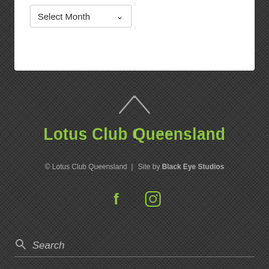[Figure (screenshot): Dropdown select box with 'Select Month' placeholder text and chevron arrow]
[Figure (illustration): Upward-pointing chevron/caret icon in grey]
Lotus Club Queensland
© Lotus Club Queensland  |  Site by Black Eye Studios
[Figure (illustration): Facebook and Instagram social media icons in green]
Search